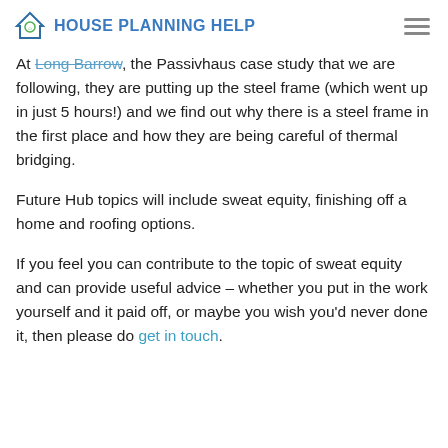House Planning Help
At Long Barrow, the Passivhaus case study that we are following, they are putting up the steel frame (which went up in just 5 hours!) and we find out why there is a steel frame in the first place and how they are being careful of thermal bridging.
Future Hub topics will include sweat equity, finishing off a home and roofing options.
If you feel you can contribute to the topic of sweat equity and can provide useful advice – whether you put in the work yourself and it paid off, or maybe you wish you'd never done it, then please do get in touch.